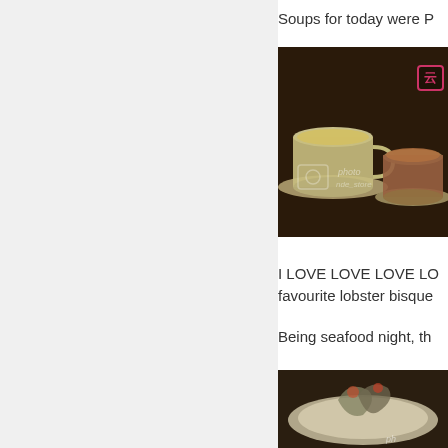Soups for today were P
[Figure (photo): Photo of soup cups on saucers on a dark table, with a photobucket watermark overlay]
I LOVE LOVE LOVE LO
favourite lobster bisque
Being seafood night, th
[Figure (photo): Photo of seafood dish on a plate]